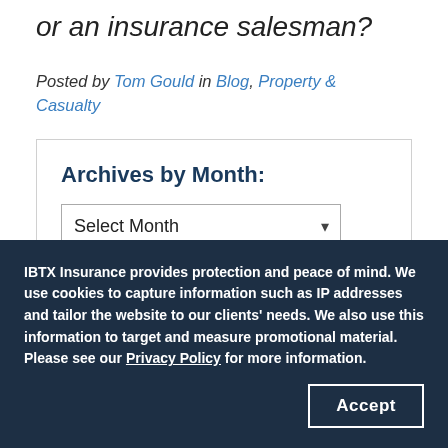or an insurance salesman?
Posted by Tom Gould in Blog, Property & Casualty
Archives by Month:
Other Topics:
IBTX Insurance provides protection and peace of mind. We use cookies to capture information such as IP addresses and tailor the website to our clients' needs. We also use this information to target and measure promotional material. Please see our Privacy Policy for more information.